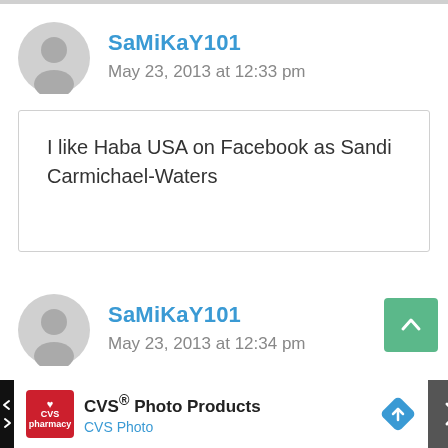SaMiKaY101
May 23, 2013 at 12:33 pm
I like Haba USA on Facebook as Sandi Carmichael-Waters
SaMiKaY101
May 23, 2013 at 12:34 pm
CVS® Photo Products CVS Photo